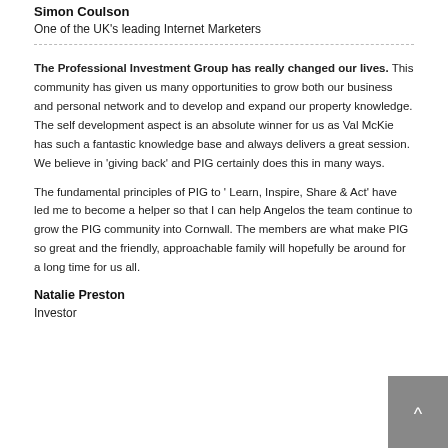Simon Coulson
One of the UK's leading Internet Marketers
The Professional Investment Group has really changed our lives. This community has given us many opportunities to grow both our business and personal network and to develop and expand our property knowledge. The self development aspect is an absolute winner for us as Val McKie has such a fantastic knowledge base and always delivers a great session. We believe in 'giving back' and PIG certainly does this in many ways.
The fundamental principles of PIG to ' Learn, Inspire, Share & Act' have led me to become a helper so that I can help Angelos the team continue to grow the PIG community into Cornwall. The members are what make PIG so great and the friendly, approachable family will hopefully be around for a long time for us all.
Natalie Preston
Investor